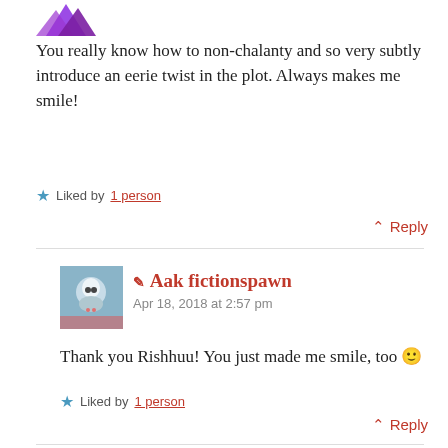[Figure (illustration): Purple avatar icon, partially visible at top left]
You really know how to non-chalanty and so very subtly introduce an eerie twist in the plot. Always makes me smile!
★ Liked by 1 person
^ Reply
[Figure (photo): Aak fictionspawn avatar - illustrated character in blue/icy scene]
✏ Aak fictionspawn
Apr 18, 2018 at 2:57 pm
Thank you Rishhuu! You just made me smile, too 🙂
★ Liked by 1 person
^ Reply